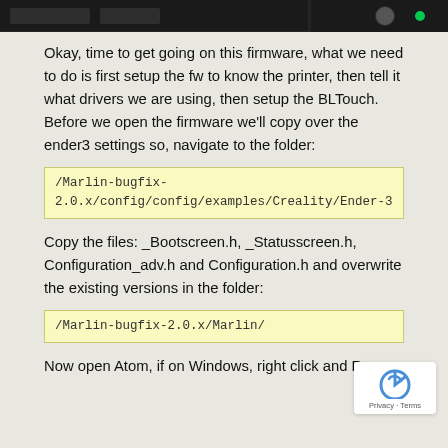[Figure (screenshot): Dark toolbar/header bar at the top of the page, showing a software UI screenshot strip]
Okay, time to get going on this firmware, what we need to do is first setup the fw to know the printer, then tell it what drivers we are using, then setup the BLTouch. Before we open the firmware we'll copy over the ender3 settings so, navigate to the folder:
/Marlin-bugfix-2.0.x/config/config/examples/Creality/Ender-3
Copy the files: _Bootscreen.h, _Statusscreen.h, Configuration_adv.h and Configuration.h and overwrite the existing versions in the folder:
/Marlin-bugfix-2.0.x/Marlin/
Now open Atom, if on Windows, right click and Run as